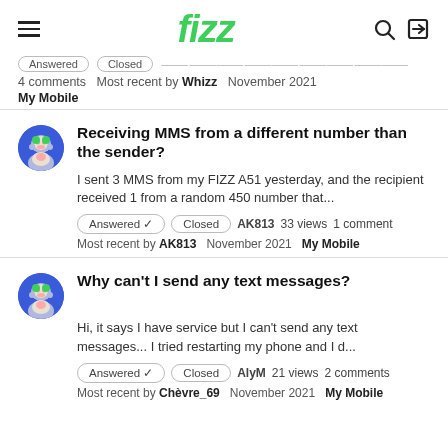fizz
4 comments  Most recent by Whizz  November 2021
My Mobile
Receiving MMS from a different number than the sender?
I sent 3 MMS from my FIZZ A51 yesterday, and the recipient received 1 from a random 450 number that...
Answered ✓  Closed  AK813  33 views  1 comment
Most recent by AK813  November 2021  My Mobile
Why can't I send any text messages?
Hi, it says I have service but I can't send any text messages... I tried restarting my phone and I d...
Answered ✓  Closed  AlyM  21 views  2 comments
Most recent by Chèvre_69  November 2021  My Mobile